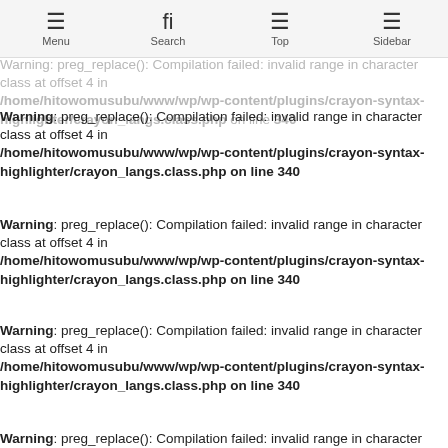Menu | Search | Top | Sidebar
Warning: preg_replace(): Compilation failed: invalid range in character class at offset 4 in /home/hitowomusubu/www/wp/wp-content/plugins/crayon-syntax-highlighter/crayon_langs.class.php on line 340
Warning: preg_replace(): Compilation failed: invalid range in character class at offset 4 in /home/hitowomusubu/www/wp/wp-content/plugins/crayon-syntax-highlighter/crayon_langs.class.php on line 340
Warning: preg_replace(): Compilation failed: invalid range in character class at offset 4 in /home/hitowomusubu/www/wp/wp-content/plugins/crayon-syntax-highlighter/crayon_langs.class.php on line 340
Warning: preg_replace(): Compilation failed: invalid range in character class at offset 4 in /home/hitowomusubu/www/wp/wp-content/plugins/crayon-syntax-highlighter/crayon_langs.class.php on line 340
Warning: preg_replace(): Compilation failed: invalid range in character class at offset 4 in /home/hitowomusubu/www/wp/wp-content/plugins/crayon-syntax-highlighter/crayon_langs.class.php on line 340